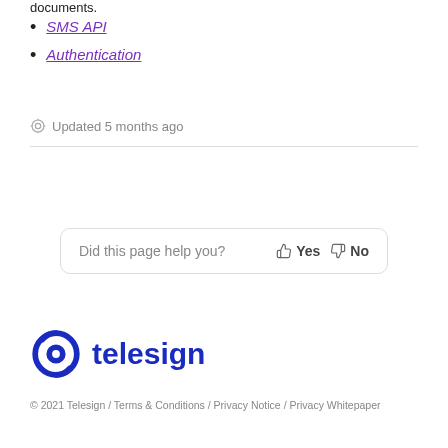documents.
SMS API
Authentication
Updated 5 months ago
Did this page help you?  Yes  No
[Figure (logo): Telesign logo — blue swirl icon followed by the word telesign in bold blue text]
© 2021 Telesign / Terms & Conditions / Privacy Notice / Privacy Whitepaper